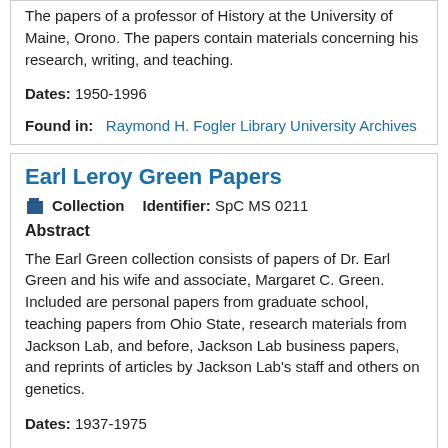The papers of a professor of History at the University of Maine, Orono. The papers contain materials concerning his research, writing, and teaching.
Dates: 1950-1996
Found in: Raymond H. Fogler Library University Archives
Earl Leroy Green Papers
Collection   Identifier: SpC MS 0211
Abstract
The Earl Green collection consists of papers of Dr. Earl Green and his wife and associate, Margaret C. Green. Included are personal papers from graduate school, teaching papers from Ohio State, research materials from Jackson Lab, and before, Jackson Lab business papers, and reprints of articles by Jackson Lab's staff and others on genetics.
Dates: 1937-1975
Found in: Raymond H. Fogler Library Special